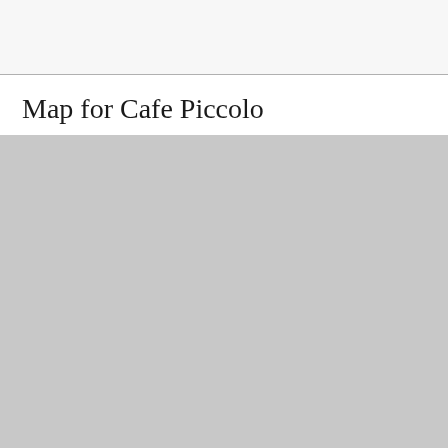Map for Cafe Piccolo
[Figure (map): A map placeholder area shown as a solid light gray rectangle representing the map for Cafe Piccolo.]